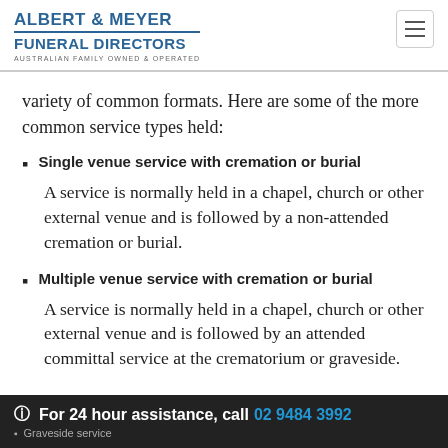ALBERT & MEYER FUNERAL DIRECTORS AUSTRALIAN FAMILY OWNED & OPERATED
variety of common formats. Here are some of the more common service types held:
Single venue service with cremation or burial — A service is normally held in a chapel, church or other external venue and is followed by a non-attended cremation or burial.
Multiple venue service with cremation or burial — A service is normally held in a chapel, church or other external venue and is followed by an attended committal service at the crematorium or graveside.
For 24 hour assistance, call 02 9484 3992 • Graveside service